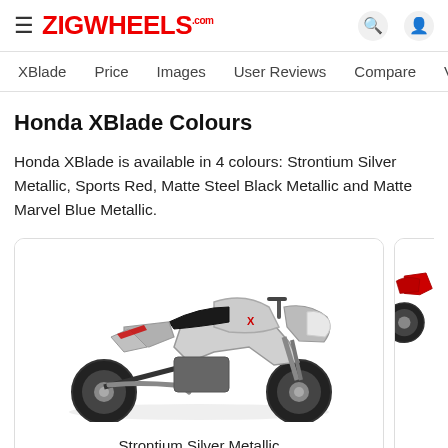≡ ZIGWHEELS.com
XBlade   Price   Images   User Reviews   Compare   Varian
Honda XBlade Colours
Honda XBlade is available in 4 colours: Strontium Silver Metallic, Sports Red, Matte Steel Black Metallic and Matte Marvel Blue Metallic.
[Figure (photo): Honda XBlade motorcycle in Strontium Silver Metallic color — side profile view showing full bike with silver body, black accents, and red details]
Strontium Silver Metallic
[Figure (photo): Partial view of Honda XBlade motorcycle in Sports Red color — rear section visible showing red bodywork]